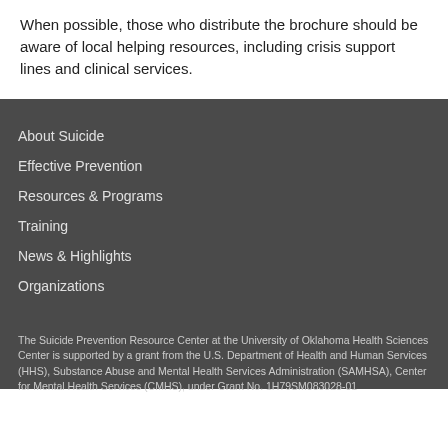When possible, those who distribute the brochure should be aware of local helping resources, including crisis support lines and clinical services.
About Suicide
Effective Prevention
Resources & Programs
Training
News & Highlights
Organizations
The Suicide Prevention Resource Center at the University of Oklahoma Health Sciences Center is supported by a grant from the U.S. Department of Health and Human Services (HHS), Substance Abuse and Mental Health Services Administration (SAMHSA), Center for Mental Health Services (CMHS), under Grant No. 1H79SM083028-01